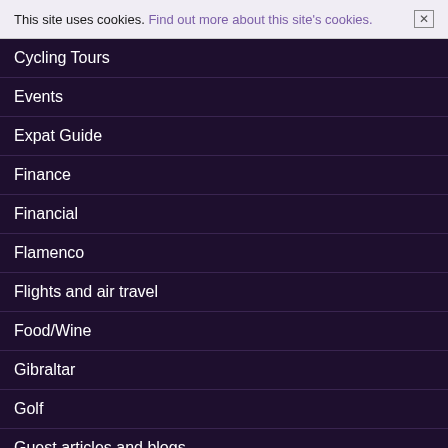This site uses cookies. Find out more about this site's cookies. ×
Cycling Tours
Events
Expat Guide
Finance
Financial
Flamenco
Flights and air travel
Food/Wine
Gibraltar
Golf
Guest articles and blogs
Guided Tours